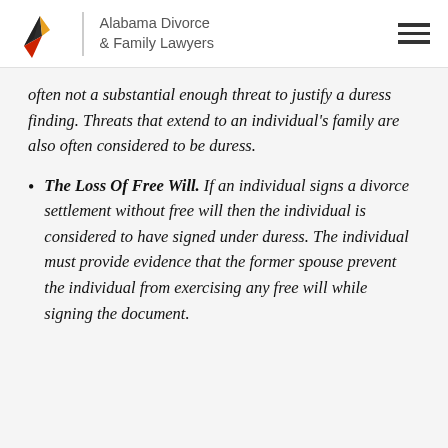Alabama Divorce & Family Lawyers
often not a substantial enough threat to justify a duress finding. Threats that extend to an individual's family are also often considered to be duress.
The Loss Of Free Will. If an individual signs a divorce settlement without free will then the individual is considered to have signed under duress. The individual must provide evidence that the former spouse prevent the individual from exercising any free will while signing the document.